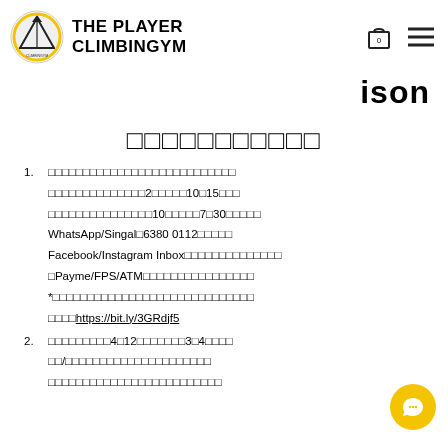THE PLAYER CLIMBINGYM
ison
□□□□□□□□□□□
□□□□□□□□□□□□□□□□□□□□□□□□□□□□□□□□□□□□□□□□□□□□2□□□□□10□15□□□□□□□□□□□□□□□□10□□□□□7□30□□□□□ WhatsApp/Singal□6380 0112□□□□□ Facebook/Instagram Inbox□□□□□□□□□□□□□□ □Payme/FPS/ATM□□□□□□□□□□□□□□□□ *□□□□□□□□□□□□□□□□□□□□□□□□□□□□□ □□□□□https://bit.ly/3GRdjf5
□□□□□□□□□4□12□□□□□□□3□4□□□□□□/□□□□□□□□□□□□□□□□□□□□□□□□□□□□□□□□□□□□□□□□□□□□□